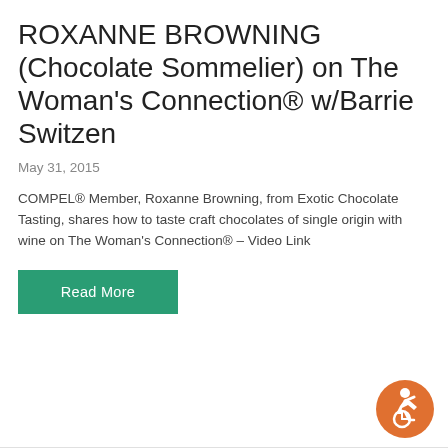ROXANNE BROWNING (Chocolate Sommelier) on The Woman's Connection® w/Barrie Switzen
May 31, 2015
COMPEL® Member, Roxanne Browning, from Exotic Chocolate Tasting, shares how to taste craft chocolates of single origin with wine on The Woman's Connection® – Video Link
Read More